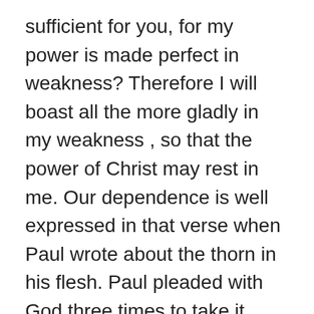sufficient for you, for my power is made perfect in weakness? Therefore I will boast all the more gladly in my weakness , so that the power of Christ may rest in me. Our dependence is well expressed in that verse when Paul wrote about the thorn in his flesh. Paul pleaded with God three times to take it away but God told him that His power is made perfect in Paul?s weakness. God did not remove Paul?s weakness ,instead he spoke into his weakness. God?s power is mainly found when we shift from begging him to remove our struggle but to listen to Him speak into our struggles. Our weakness makes us depend on God and draw us close to Him. If you are not strong anymore because you cannot fight or your weakness is overwhelming you, just pray to God for his power to be manifested in